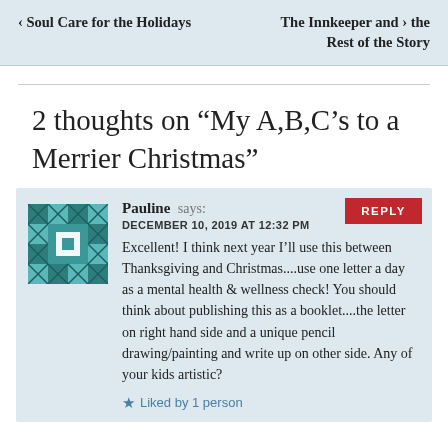< Soul Care for the Holidays | The Innkeeper and the Rest of the Story >
2 thoughts on “My A,B,C’s to a Merrier Christmas”
Pauline says: DECEMBER 10, 2019 AT 12:32 PM
Excellent! I think next year I’ll use this between Thanksgiving and Christmas....use one letter a day as a mental health & wellness check! You should think about publishing this as a booklet....the letter on right hand side and a unique pencil drawing/painting and write up on other side. Any of your kids artistic?
Liked by 1 person